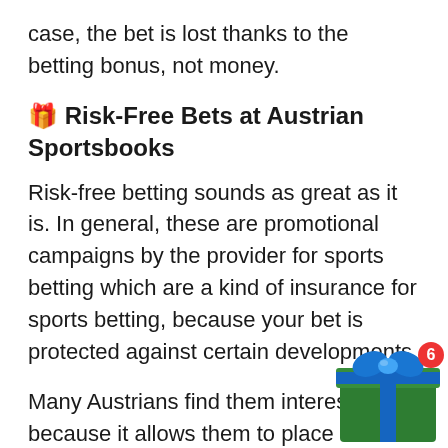case, the bet is lost thanks to the betting bonus, not money.
🎁 Risk-Free Bets at Austrian Sportsbooks
Risk-free betting sounds as great as it is. In general, these are promotional campaigns by the provider for sports betting which are a kind of insurance for sports betting, because your bet is protected against certain developments.
Many Austrians find them interesting because it allows them to place somewhat risky bets at the beginning without their own risk. If the bet is lost, players don't lose any money. Instead, the betting bonus takes effect and players